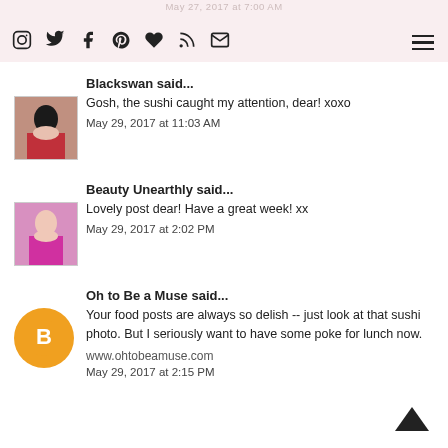May 27, 2017 at 7:00 AM
Blackswan said...
Gosh, the sushi caught my attention, dear! xoxo
May 29, 2017 at 11:03 AM
Beauty Unearthly said...
Lovely post dear! Have a great week! xx
May 29, 2017 at 2:02 PM
Oh to Be a Muse said...
Your food posts are always so delish -- just look at that sushi photo. But I seriously want to have some poke for lunch now.
www.ohtobeamuse.com
May 29, 2017 at 2:15 PM